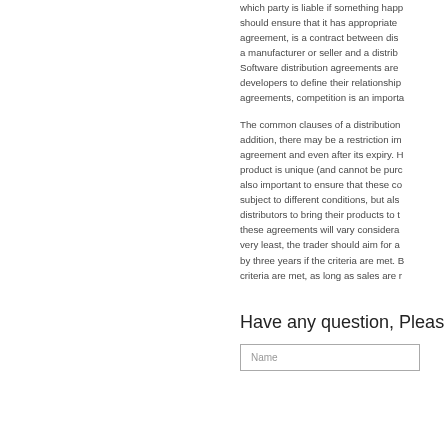which party is liable if something happens should ensure that it has appropriate agreement, is a contract between distributors a manufacturer or seller and a distributor. Software distribution agreements are developers to define their relationships agreements, competition is an important
The common clauses of a distribution addition, there may be a restriction imposed agreement and even after its expiry. However, product is unique (and cannot be purchased also important to ensure that these contracts subject to different conditions, but also distributors to bring their products to these agreements will vary considerably very least, the trader should aim for a by three years if the criteria are met. But criteria are met, as long as sales are
Have any question, Please
Name